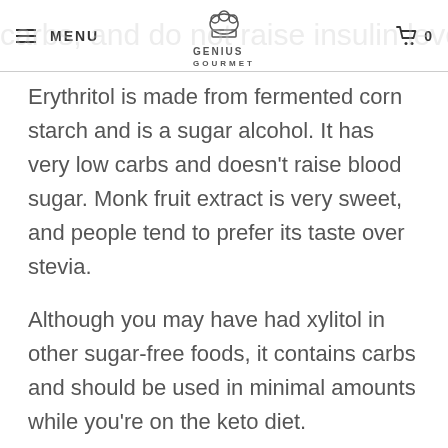MENU  GENIUS GOURMET  0
Erythritol is made from fermented corn starch and is a sugar alcohol. It has very low carbs and doesn't raise blood sugar. Monk fruit extract is very sweet, and people tend to prefer its taste over stevia.
Although you may have had xylitol in other sugar-free foods, it contains carbs and should be used in minimal amounts while you're on the keto diet.
While on keto, it's best to stick to stevia and sweeteners made from sugar